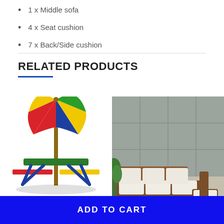1 x Middle sofa
4 x Seat cushion
7 x Back/Side cushion
RELATED PRODUCTS
[Figure (photo): Colorful children's picnic table with rainbow umbrella (red, blue, yellow, green planks)]
[Figure (photo): Outdoor patio lounge set with brown rattan sofa and white cushions against a grey wall with plants]
ADD TO CART